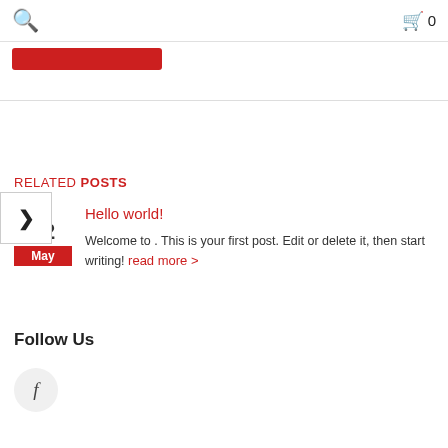🔍 [search icon]   🛍 0
[Figure (other): Red button/banner element partially visible at top left]
RELATED POSTS
Hello world!
Welcome to . This is your first post. Edit or delete it, then start writing! read more >
Follow Us
[Figure (other): Facebook icon in grey circle]